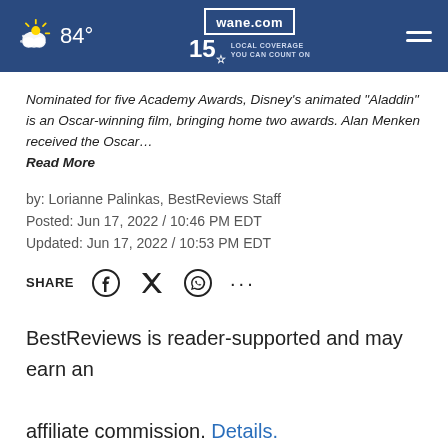84° wane.com 15 LOCAL COVERAGE YOU CAN COUNT ON
Nominated for five Academy Awards, Disney's animated "Aladdin" is an Oscar-winning film, bringing home two awards. Alan Menken received the Oscar… Read More
by: Lorianne Palinkas, BestReviews Staff
Posted: Jun 17, 2022 / 10:46 PM EDT
Updated: Jun 17, 2022 / 10:53 PM EDT
SHARE
BestReviews is reader-supported and may earn an affiliate commission. Details.